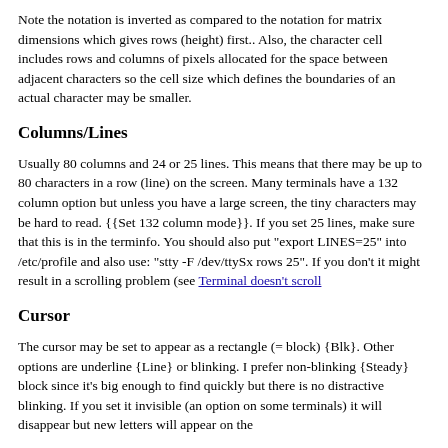Note the notation is inverted as compared to the notation for matrix dimensions which gives rows (height) first.. Also, the character cell includes rows and columns of pixels allocated for the space between adjacent characters so the cell size which defines the boundaries of an actual character may be smaller.
Columns/Lines
Usually 80 columns and 24 or 25 lines. This means that there may be up to 80 characters in a row (line) on the screen. Many terminals have a 132 column option but unless you have a large screen, the tiny characters may be hard to read. {{Set 132 column mode}}. If you set 25 lines, make sure that this is in the terminfo. You should also put "export LINES=25" into /etc/profile and also use: "stty -F /dev/ttySx rows 25". If you don't it might result in a scrolling problem (see Terminal doesn't scroll
Cursor
The cursor may be set to appear as a rectangle (= block) {Blk}. Other options are underline {Line} or blinking. I prefer non-blinking {Steady} block since it's big enough to find quickly but there is no distractive blinking. If you set it invisible (an option on some terminals) it will disappear but new letters will appear on the screen at the invisible...